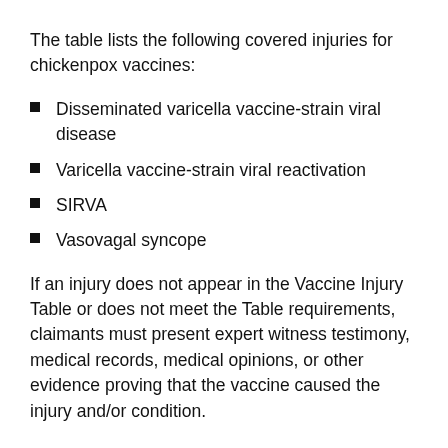The table lists the following covered injuries for chickenpox vaccines:
Disseminated varicella vaccine-strain viral disease
Varicella vaccine-strain viral reactivation
SIRVA
Vasovagal syncope
If an injury does not appear in the Vaccine Injury Table or does not meet the Table requirements, claimants must present expert witness testimony, medical records, medical opinions, or other evidence proving that the vaccine caused the injury and/or condition.
Contact a Chickenpox Vaccine Injury Lawyer Today